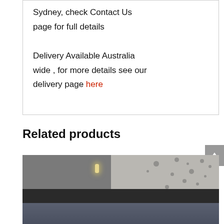Sydney, check Contact Us page for full details

Delivery Available Australia wide , for more details see our delivery page here
Related products
[Figure (photo): Photo of a bedroom with dark bedding, white brick wall, wall lamp, and spotted curtain/background on the right side]